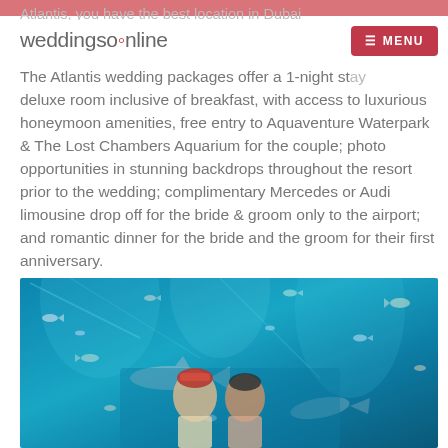weddingsonline  MENU
The Atlantis wedding packages offer a 1-night stay deluxe room inclusive of breakfast, with access to luxurious honeymoon amenities, free entry to Aquaventure Waterpark & The Lost Chambers Aquarium for the couple; photo opportunities in stunning backdrops throughout the resort prior to the wedding; complimentary Mercedes or Audi limousine drop off for the bride & groom only to the airport; and romantic dinner for the bride and the groom for their first anniversary.
[Figure (photo): A couple in traditional Indian wedding attire posing in front of a large aquarium tank filled with fish and sharks, with a vivid blue underwater backdrop at The Lost Chambers Aquarium, Atlantis.]